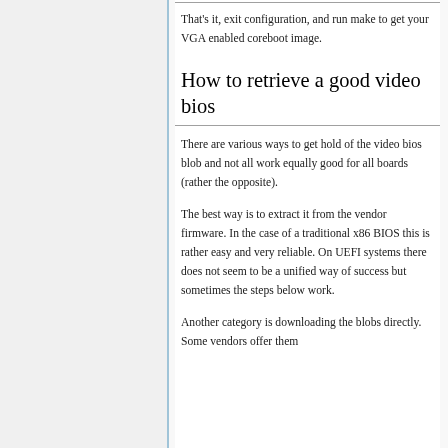That's it, exit configuration, and run make to get your VGA enabled coreboot image.
How to retrieve a good video bios
There are various ways to get hold of the video bios blob and not all work equally good for all boards (rather the opposite).
The best way is to extract it from the vendor firmware. In the case of a traditional x86 BIOS this is rather easy and very reliable. On UEFI systems there does not seem to be a unified way of success but sometimes the steps below work.
Another category is downloading the blobs directly. Some vendors offer them